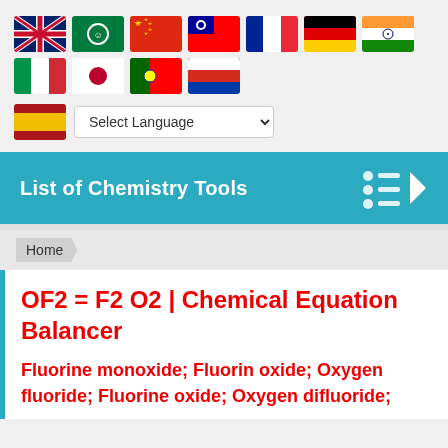[Figure (screenshot): Row of country flag icons: UK, Arabic, China, Taiwan, France, Germany, India, Italy, Japan, Portugal, Russia, Spain]
[Figure (screenshot): Spain flag icon followed by a 'Select Language' dropdown selector]
List of Chemistry Tools
Home
OF2 = F2 O2 | Chemical Equation Balancer
Fluorine monoxide; Fluorin oxide; Oxygen fluoride; Fluorine oxide; Oxygen difluoride;